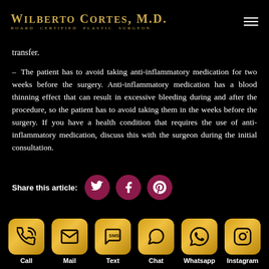WILBERTO CORTES, M.D. BOARD CERTIFIED PLASTIC SURGEON
transfer.
– The patient has to avoid taking anti-inflammatory medication for two weeks before the surgery. Anti-inflammatory medication has a blood thinning effect that can result in excessive bleeding during and after the procedure, so the patient has to avoid taking them in the weeks before the surgery. If you have a health condition that requires the use of anti-inflammatory medication, discuss this with the surgeon during the initial consultation.
Share this article:
[Figure (infographic): Social share buttons: Twitter, Facebook, Pinterest (dark pink/maroon circular buttons)]
[Figure (infographic): Contact icons row with gold gradient rounded-square buttons: Call, Mail, Text, Chat, Whatsapp, Instagram]